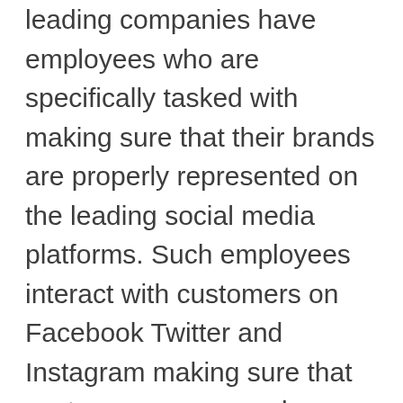leading companies have employees who are specifically tasked with making sure that their brands are properly represented on the leading social media platforms. Such employees interact with customers on Facebook Twitter and Instagram making sure that customers are properly updated about the company. By visiting these platforms, customers have access to the most recent developments in the food truck companies. If, for instance, the company has developed a new menu, the information is quickly communicated to potential customers through social media. Through these platforms, the